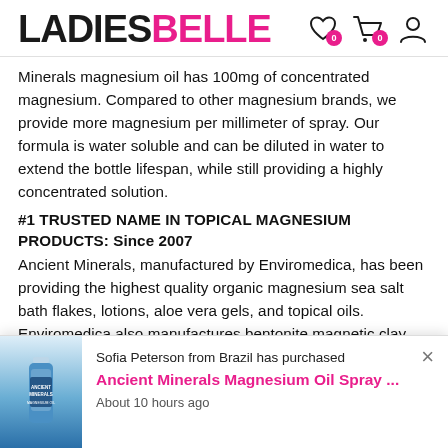LADIESBELLE
Minerals magnesium oil has 100mg of concentrated magnesium. Compared to other magnesium brands, we provide more magnesium per millimeter of spray. Our formula is water soluble and can be diluted in water to extend the bottle lifespan, while still providing a highly concentrated solution.
#1 TRUSTED NAME IN TOPICAL MAGNESIUM PRODUCTS: Since 2007
Ancient Minerals, manufactured by Enviromedica, has been providing the highest quality organic magnesium sea salt bath flakes, lotions, aloe vera gels, and topical oils. Enviromedica also manufactures bentonite magnetic clay detox, cartilage collagen, bovine beef liver, and soil-based probiotics.
[Figure (photo): Ancient Minerals Magnesium Oil Spray bottle (blue label)]
Sofia Peterson from Brazil has purchased
Ancient Minerals Magnesium Oil Spray ...
About 10 hours ago